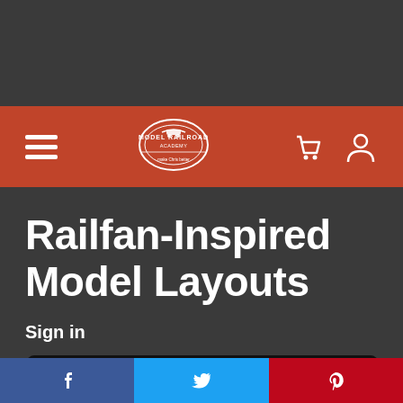Model Railroad Academy - Navigation bar with hamburger menu, logo, cart and user icons
Railfan-Inspired Model Layouts
Sign in
[Figure (screenshot): Video embed area showing error: This video is either unavailable or not supported in this browser, with a comment button overlay]
Social share buttons: Facebook, Twitter, Pinterest